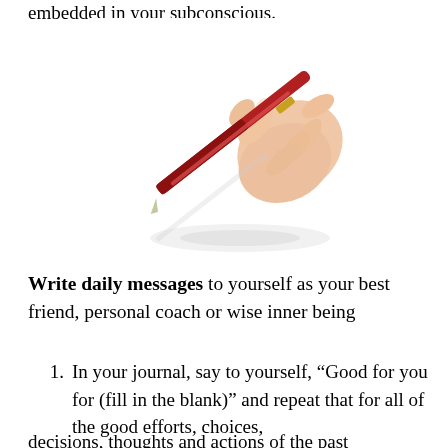embedded in your subconscious.
[Figure (photo): A hand holding a red pen, positioned as if writing, with a subtle reflection on a white surface below.]
Write daily messages to yourself as your best friend, personal coach or wise inner being
In your journal, say to yourself, “Good for you for (fill in the blank)” and repeat that for all of the good efforts, choices,
decisions, thoughts and actions of the past